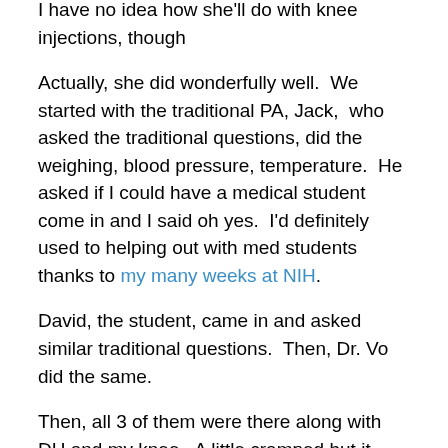I have no idea how she'll do with knee injections, though
Actually, she did wonderfully well.  We started with the traditional PA, Jack,  who asked the traditional questions, did the weighing, blood pressure, temperature.  He asked if I could have a medical student come in and I said oh yes.  I'd definitely used to helping out with med students thanks to my many weeks at NIH.
David, the student, came in and asked similar traditional questions.  Then, Dr. Vo did the same.
Then, all 3 of them were there along with DH and my knee.  A little cramped but it worked.  She did a really good workup, Apparently, my patella isn't moving as well as it should.  As always, they say my left knee is swollen but I can't see that.  According to my pain when she pressed various places, she thinks I have a small tear (Patellar